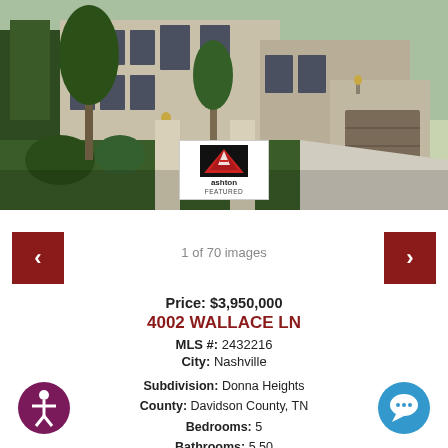[Figure (photo): Exterior photo of a large upscale residential home with beige/cream brick facade, black-framed windows, manicured landscaping with evergreen trees, and a wide driveway. Ashton Featured badge overlay in center-bottom.]
1 of 70 images
Price: $3,950,000
4002 WALLACE LN
MLS #: 2432216
City: Nashville
Subdivision: Donna Heights
County: Davidson County, TN
Bedrooms: 5
Bathrooms: 5.50
Type: Residential
Elementary: Julia Green Elementary
Middle: John T. Moore Middle School
High: Hillsboro Comp High School